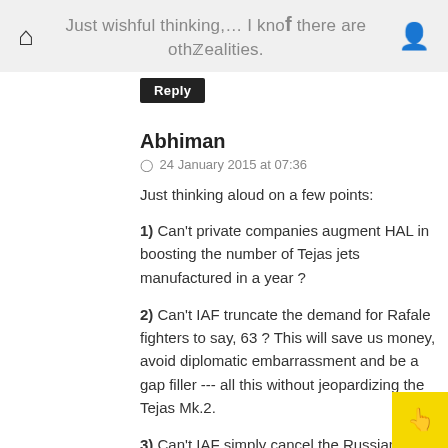Just wishful thinking,… I know there are other realities.
Reply
Abhiman
24 January 2015 at 07:36
Just thinking aloud on a few points:
1) Can't private companies augment HAL in boosting the number of Tejas jets manufactured in a year?
2) Can't IAF truncate the demand for Rafale fighters to say, 63? This will save us money, avoid diplomatic embarrassment and be a gap filler--- all this without jeopardizing the Tejas Mk.2.
3) Can't IAF simply cancel the Russian FGFA? When we have an indigenous AMCA in the pipeline, its criminal to buy another nation's hand-me-down. Also, the AMCA can be sped up with private participation. In any case reports say the FGFA its going nowhere, and its useless to ask Russians to accommodate our little R&D at this late a stage. On the other hand, our AMCA will provide the IAF full flexibility to mould it from scratch. The way IAF wants it. The private industry can also be invited